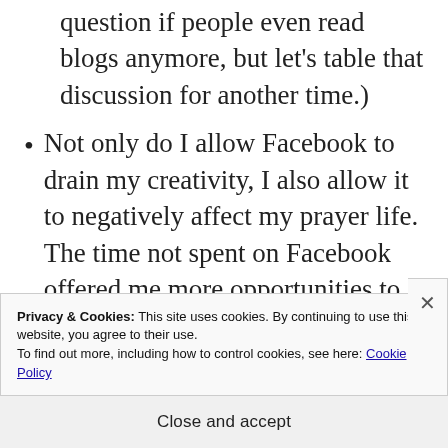question if people even read blogs anymore, but let’s table that discussion for another time.)
Not only do I allow Facebook to drain my creativity, I also allow it to negatively affect my prayer life. The time not spent on Facebook offered me more opportunities to pray for friends, family, and neighbors, some of whom endured serious trials during the weeks of Lent.
Privacy & Cookies: This site uses cookies. By continuing to use this website, you agree to their use.
To find out more, including how to control cookies, see here: Cookie Policy
Close and accept